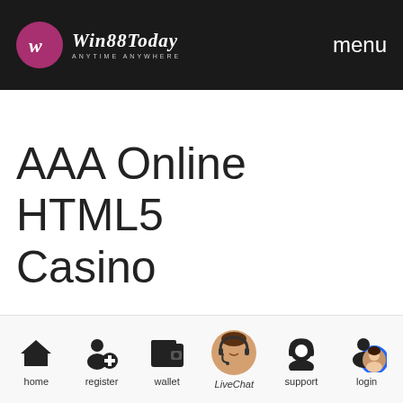Win88Today — ANYTIME ANYWHERE | menu
AAA Online HTML5 Casino
home | register | wallet | LiveChat | support | login